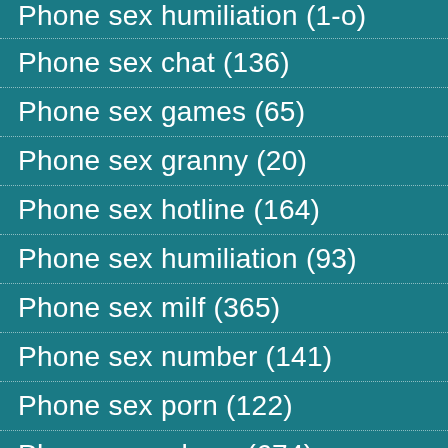Phone sex chat (136)
Phone sex games (65)
Phone sex granny (20)
Phone sex hotline (164)
Phone sex humiliation (93)
Phone sex milf (365)
Phone sex number (141)
Phone sex porn (122)
Phone sex whore (674)
Phonesex (116)
Porn for masturbation (190)
Sissy phone sex (465)